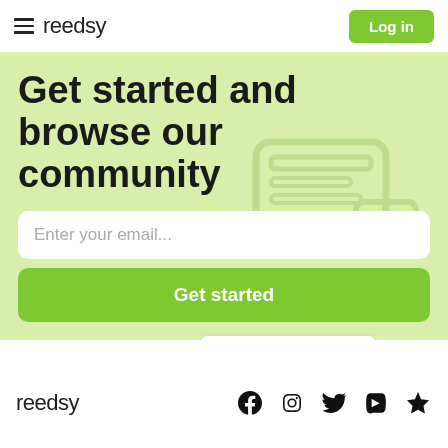reedsy  Log in
Get started and browse our community
Enter your email...
Get started
Sign up with facebook or  Sign in with Google
reedsy